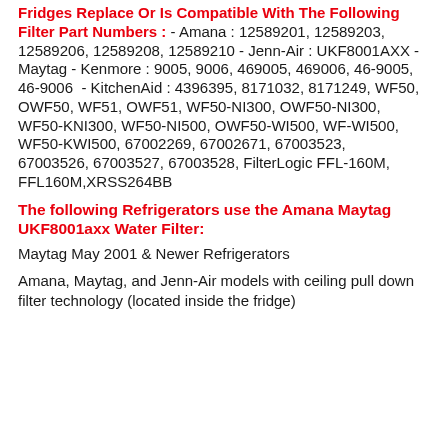Fridges Replace Or Is Compatible With The Following Filter Part Numbers : - Amana : 12589201, 12589203, 12589206, 12589208, 12589210 - Jenn-Air : UKF8001AXX - Maytag - Kenmore : 9005, 9006, 469005, 469006, 46-9005, 46-9006  - KitchenAid : 4396395, 8171032, 8171249, WF50, OWF50, WF51, OWF51, WF50-NI300, OWF50-NI300,   WF50-KNI300, WF50-NI500, OWF50-WI500, WF-WI500, WF50-KWI500, 67002269, 67002671, 67003523,    67003526, 67003527, 67003528, FilterLogic FFL-160M, FFL160M,XRSS264BB
The following Refrigerators use the Amana Maytag UKF8001axx Water Filter:
Maytag May 2001 & Newer Refrigerators
Amana, Maytag, and Jenn-Air models with ceiling pull down filter technology (located inside the fridge)